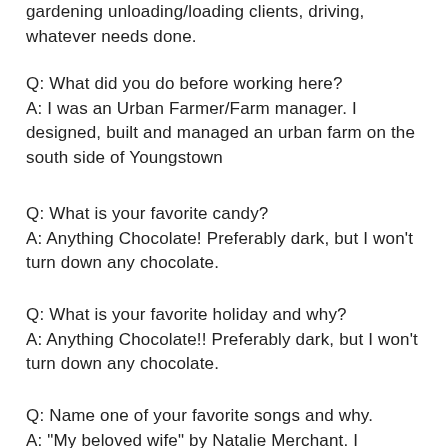gardening unloading/loading clients, driving, whatever needs done.
Q: What did you do before working here?
A: I was an Urban Farmer/Farm manager. I designed, built and managed an urban farm on the south side of Youngstown
Q: What is your favorite candy?
A: Anything Chocolate! Preferably dark, but I won't turn down any chocolate.
Q: What is your favorite holiday and why?
A: Anything Chocolate!! Preferably dark, but I won't turn down any chocolate.
Q: Name one of your favorite songs and why.
A: "My beloved wife" by Natalie Merchant. I